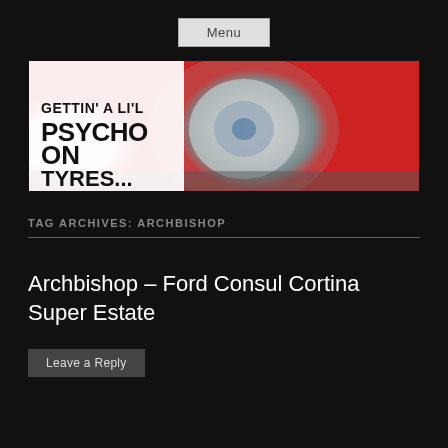Menu
[Figure (photo): Banner image for 'Gettin' A Li'l Psycho On Tyres...' blog, showing a blurred car headlight on a red car in motion. Text overlay reads 'GETTIN' A LI'L PSYCHO ON TYRES...' in bold black letters on white background left side.]
TAG ARCHIVES: ARCHBISHOP
Archbishop – Ford Consul Cortina Super Estate
Leave a Reply